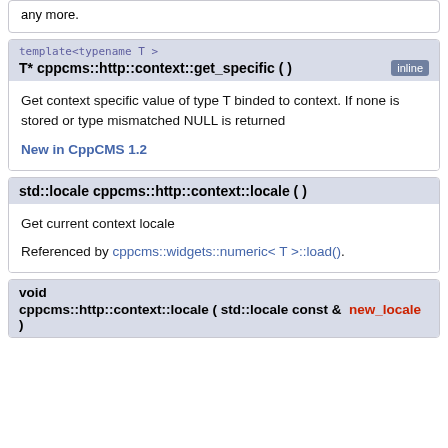any more.
template<typename T >
T* cppcms::http::context::get_specific ( ) [inline]
Get context specific value of type T binded to context. If none is stored or type mismatched NULL is returned
New in CppCMS 1.2
std::locale cppcms::http::context::locale ( )
Get current context locale
Referenced by cppcms::widgets::numeric< T >::load().
void cppcms::http::context::locale ( std::locale const & new_locale )